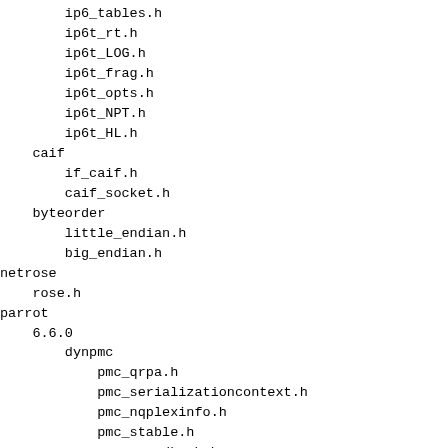ip6_tables.h
ip6t_rt.h
ip6t_LOG.h
ip6t_frag.h
ip6t_opts.h
ip6t_NPT.h
ip6t_HL.h
caif
if_caif.h
caif_socket.h
byteorder
little_endian.h
big_endian.h
netrose
rose.h
parrot
6.6.0
dynpmc
pmc_qrpa.h
pmc_serializationcontext.h
pmc_nqplexinfo.h
pmc_stable.h
pmc_ownedhash.h